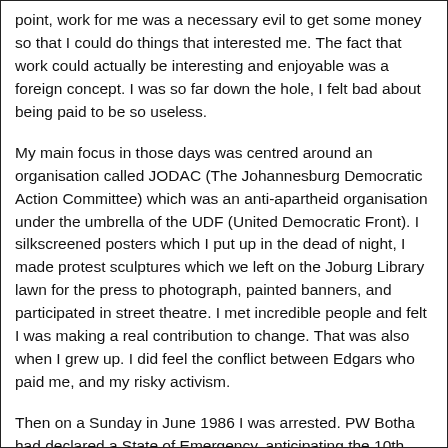point, work for me was a necessary evil to get some money so that I could do things that interested me. The fact that work could actually be interesting and enjoyable was a foreign concept. I was so far down the hole, I felt bad about being paid to be so useless.
My main focus in those days was centred around an organisation called JODAC (The Johannesburg Democratic Action Committee) which was an anti-apartheid organisation under the umbrella of the UDF (United Democratic Front). I silkscreened posters which I put up in the dead of night, I made protest sculptures which we left on the Joburg Library lawn for the press to photograph, painted banners, and participated in street theatre. I met incredible people and felt I was making a real contribution to change. That was also when I grew up. I did feel the conflict between Edgars who paid me, and my risky activism.
Then on a Sunday in June 1986 I was arrested. PW Botha had declared a State of Emergency, anticipating the 10th anniversary of the Soweto Uprising day in Brinton...